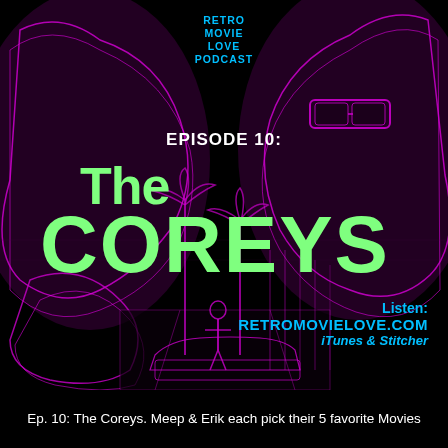[Figure (illustration): Podcast episode artwork for Retro Movie Love Podcast Episode 10: The Coreys. Black background with neon magenta/pink glowing illustration of two large male faces facing inward from either side, with a street scene in the center showing palm trees, a car, and a person. Large mint/green text reading 'The COREYS' dominates the center. Episode label 'EPISODE 10:' appears above the title. Cyan blue text shows podcast name 'RETRO MOVIE LOVE PODCAST' at top center and listen info 'Listen: RETROMOVIELOVE.COM iTunes & Stitcher' at bottom right.]
Ep. 10: The Coreys. Meep & Erik each pick their 5 favorite Movies